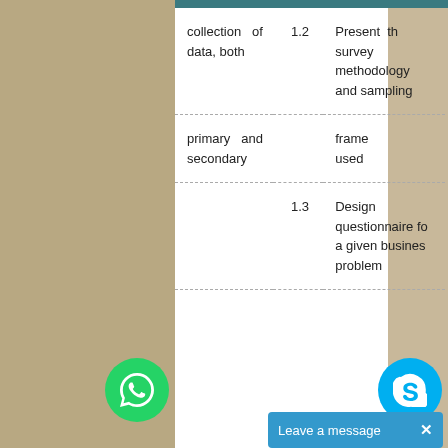|  | Number | Description |
| --- | --- | --- |
| collection of data, both | 1.2 | Present th survey methodology and sampling |
| primary and secondary |  | frame used |
|  | 1.3 | Design questionnaire fo a given busines problem |
[Figure (other): WhatsApp chat button (green circle with WhatsApp logo)]
[Figure (other): Skype chat button (blue circle with Skype logo)]
Leave a message  ×